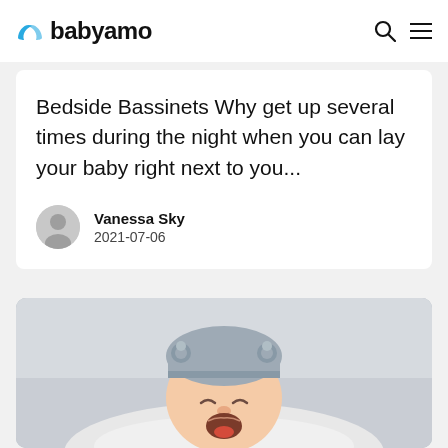babyamo
Bedside Bassinets Why get up several times during the night when you can lay your baby right next to you...
Vanessa Sky
2021-07-06
[Figure (photo): A newborn baby wearing a grey knitted bear-ear hat, yawning or crying with mouth wide open, lying on a white surface]